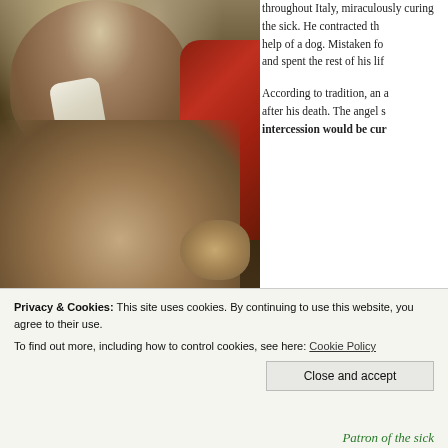[Figure (illustration): A religious painting showing a standing robed figure with a red cloak pointing downward at a reclining figure below, with a dog nearby. White cloth visible. Dark background with earthy tones.]
throughout Italy, miraculously curing the sick. He contracted the disease through the help of a dog. Mistaken for a spy, he was imprisoned and spent the rest of his life in prison.
According to tradition, an angel appeared to him after his death. The angel said that those who invoked his intercession would be cured of the plague.
Privacy & Cookies: This site uses cookies. By continuing to use this website, you agree to their use.
To find out more, including how to control cookies, see here: Cookie Policy
Close and accept
Patron of the sick